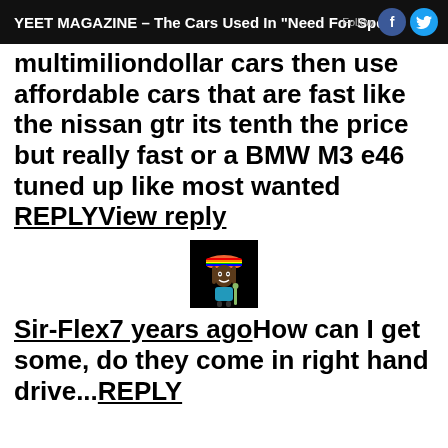YEET MAGAZINE – The Cars Used In "Need For Speed
multimiliondollar cars then use affordable cars that are fast like the nissan gtr its tenth the price but really fast or a BMW M3 e46 tuned up like most wanted REPLYView reply
[Figure (illustration): Avatar icon of a cartoon reggae character with rainbow hat]
Sir-Flex7 years agoHow can I get some, do they come in right hand drive...REPLY